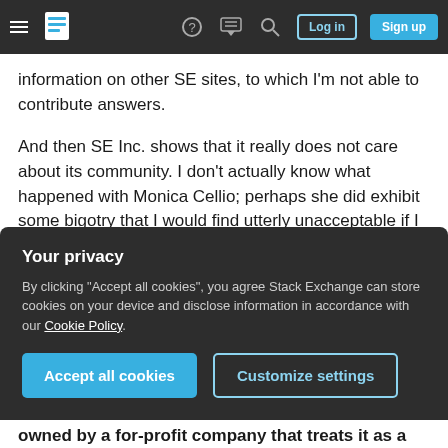Stack Exchange navigation bar with hamburger menu, logo, help, chat, search icons, Log in and Sign up buttons
information on other SE sites, to which I'm not able to contribute answers.
And then SE Inc. shows that it really does not care about its community. I don't actually know what happened with Monica Cellio; perhaps she did exhibit some bigotry that I would find utterly unacceptable if I knew the details. But even in that (seemingly unlikely) case, SE Inc. has still treated all of us like low-value drones that make up a small, replaceable part of their product. At least, so it
Your privacy
By clicking "Accept all cookies", you agree Stack Exchange can store cookies on your device and disclose information in accordance with our Cookie Policy.
Accept all cookies
Customize settings
owned by a for-profit company that treats it as a